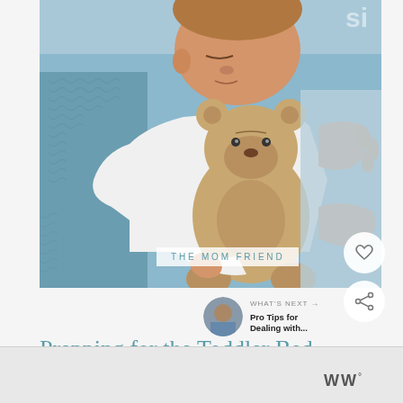[Figure (photo): A sleeping toddler in white clothing hugging a beige teddy bear, lying on blue bedding/blankets. The child's face is peaceful, eyes closed, with small hands visible.]
THE MOM FRIEND
Prepping for the Toddler Bed...